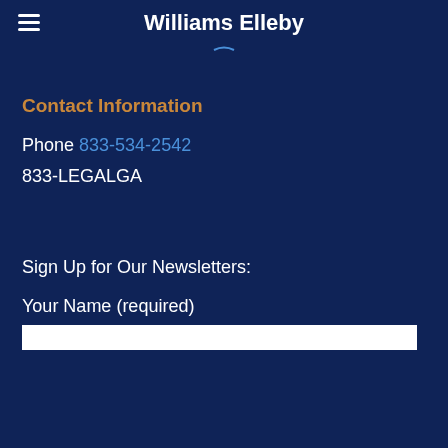Williams Elleby
Contact Information
Phone 833-534-2542
833-LEGALGA
Sign Up for Our Newsletters:
Your Name (required)